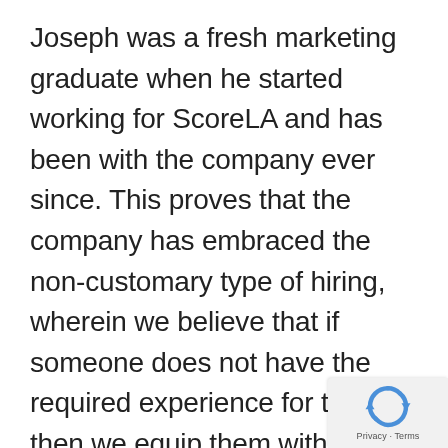Joseph was a fresh marketing graduate when he started working for ScoreLA and has been with the company ever since. This proves that the company has embraced the non-customary type of hiring, wherein we believe that if someone does not have the required experience for the job, then we equip them with the training needed to perform their tasks with excellence.